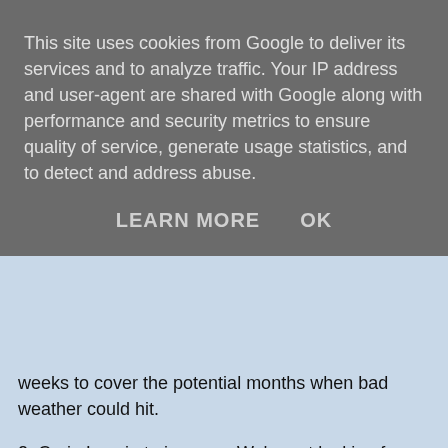This site uses cookies from Google to deliver its services and to analyze traffic. Your IP address and user-agent are shared with Google along with performance and security metrics to ensure quality of service, generate usage statistics, and to detect and address abuse.
LEARN MORE   OK
weeks to cover the potential months when bad weather could hit.
2. Craig Levein to impress: We're not looking for miracles but tangible improvements are necessary by the start of qualifying next September-ish. Speaking to Kris Boyd, Alan McGreggor and Barry Ferguson shows a willingness to explore all options. Telling them thanks but no thanks after that discussion would endear the new boss to me. I suspect I'm not alone.
3. The third placed team to finish within 10 points of the Old Firm. Not a massive achievement but a measure of a narrowing gap. Also it would serve as a reminder to Kevin...